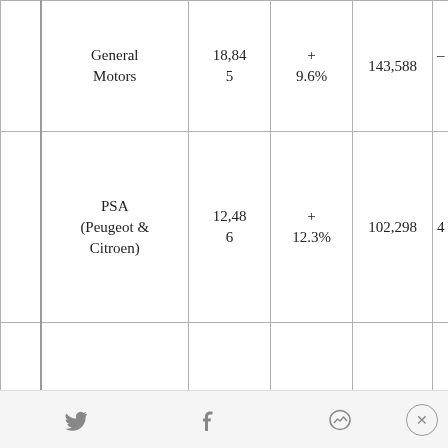|  | Manufacturer | Units (000s) | Change | Worldwide |  |
| --- | --- | --- | --- | --- | --- |
|  | General Motors | 18,845 | + 9.6% | 143,588 | – |
|  | PSA (Peugeot & Citroen) | 12,486 | + 12.3% | 102,298 | 4 |
|  | RNA (Renault, Nissan & Infiniti) | 10,893 | – 0.4% | 84,871 | –1 |
|  | Hyundai-Kia | 10,819 | + 28.8% | 79,465 | 18 |